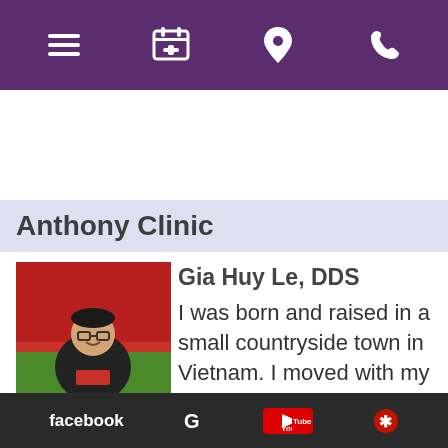Navigation bar with menu, calendar, location, and phone icons
Anthony Clinic
[Figure (photo): Photo of Dr. Gia Huy Le at a stadium, wearing glasses and a dark jacket]
Dr. Gia Huy Le
Wed-Thur
Gia Huy Le, DDS
I was born and raised in a small countryside town in Vietnam. I moved with my family to the States when I was 14. I have since lived in the Bay area and been in the city of Las Vegas for 9 years before my move to the state of New Mexico. I am
facebook  G  YouTube  Yelp